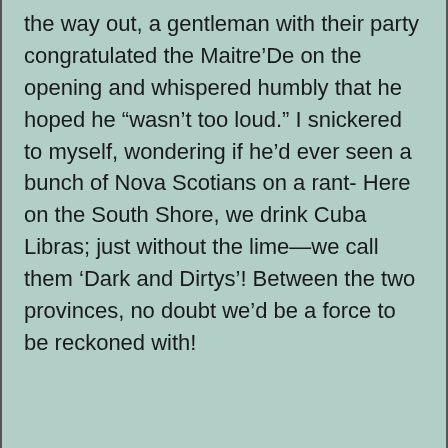the way out, a gentleman with their party congratulated the Maitre’De on the opening and whispered humbly that he hoped he “wasn’t too loud.” I snickered to myself, wondering if he’d ever seen a bunch of Nova Scotians on a rant- Here on the South Shore, we drink Cuba Libras; just without the lime—we call them ‘Dark and Dirtys’! Between the two provinces, no doubt we’d be a force to be reckoned with!
We had opportunity to speak with Carlos